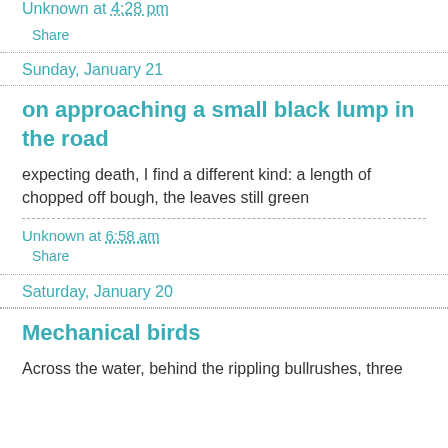Unknown at 4:28 pm
Share
Sunday, January 21
on approaching a small black lump in the road
expecting death, I find a different kind: a length of chopped off bough, the leaves still green
Unknown at 6:58 am
Share
Saturday, January 20
Mechanical birds
Across the water, behind the rippling bullrushes, three